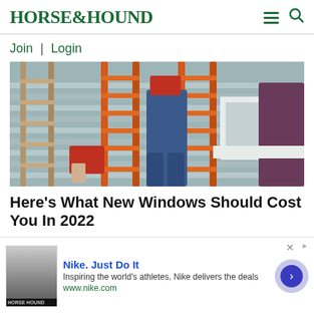HORSE&HOUND
Join | Login
[Figure (photo): Two people working with orange ladders against a house with light blue/grey siding]
Here's What New Windows Should Cost You In 2022
HomeBuddy | Sponsored
[Figure (photo): Close-up photo with dark background, fingernails visible]
[Figure (screenshot): Advertisement: Nike. Just Do It. Inspiring the world's athletes, Nike delivers the deals. www.nike.com]